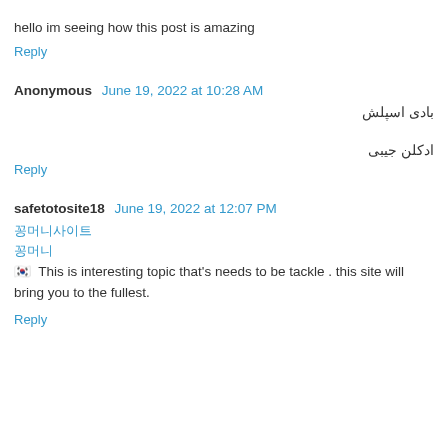hello im seeing how this post is amazing
Reply
Anonymous June 19, 2022 at 10:28 AM
بادی اسپلش
ادکلن جیبی
Reply
safetotosite18 June 19, 2022 at 12:07 PM
꽁머니사이트 꽁머니 🇰🇷 This is interesting topic that's needs to be tackle . this site will bring you to the fullest.
Reply